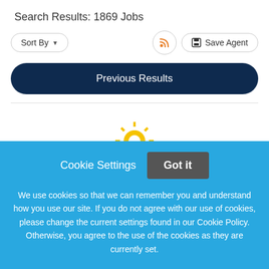Search Results: 1869 Jobs
Sort By ▼
Save Agent
Previous Results
[Figure (logo): Partial logo visible at bottom of white section — yellow sunburst/gear icon partially visible]
Cookie Settings
Got it
We use cookies so that we can remember you and understand how you use our site. If you do not agree with our use of cookies, please change the current settings found in our Cookie Policy. Otherwise, you agree to the use of the cookies as they are currently set.